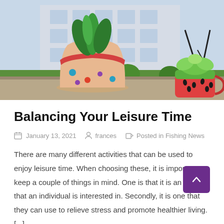[Figure (photo): Two decorative plant pots on a ledge — a large polka-dot terracotta pot with green plants and a smaller watermelon-shaped cup with a succulent, with a building and green shrubs in the background.]
Balancing Your Leisure Time
January 13, 2021   frances   Posted in Fishing News
There are many different activities that can be used to enjoy leisure time. When choosing these, it is important to keep a couple of things in mind. One is that it is an activity that an individual is interested in. Secondly, it is one that they can use to relieve stress and promote healthier living. [...]
Read More